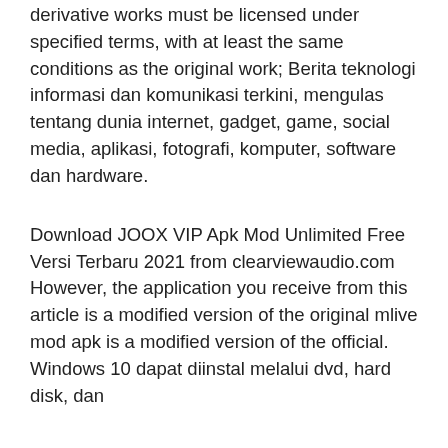derivative works must be licensed under specified terms, with at least the same conditions as the original work; Berita teknologi informasi dan komunikasi terkini, mengulas tentang dunia internet, gadget, game, social media, aplikasi, fotografi, komputer, software dan hardware.
Download JOOX VIP Apk Mod Unlimited Free Versi Terbaru 2021 from clearviewaudio.com However, the application you receive from this article is a modified version of the original mlive mod apk is a modified version of the official. Windows 10 dapat diinstal melalui dvd, hard disk, dan